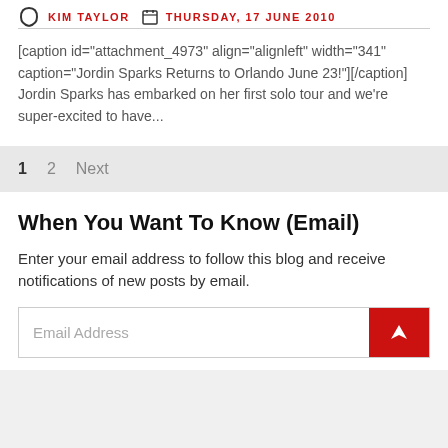KIM TAYLOR  THURSDAY, 17 JUNE 2010
[caption id="attachment_4973" align="alignleft" width="341" caption="Jordin Sparks Returns to Orlando June 23!"][/caption] Jordin Sparks has embarked on her first solo tour and we're super-excited to have...
1  2  Next
When You Want To Know (Email)
Enter your email address to follow this blog and receive notifications of new posts by email.